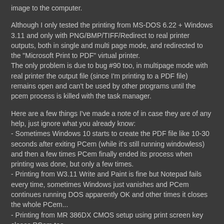image to the computer.
Although I only tested the printing from MS-DOS 6.22 + Windows 3.11 and only with PNG/BMP/TIFF/Redirect to real printer outputs, both in single and multi page mode, and redirected to the "Microsoft Print to PDF" virtual printer.
The only problem is due to bug #90 too, in multipage mode with real printer the output file (since I'm printing to a PDF file) remains open and can't be used by other programs until the pcem process is killed with the task manager.
Here are a few things I've made a note of in case they are of any help, just ignore what you already know:
- Sometimes Windows 10 starts to create the PDF file like 10-30 seconds after exiting PCem (while it's still running windowless) and then a few times PCem finally ended its process when printing was done, but only a few times.
- Printing from W3.11 Write and Paint is fine but Notepad fails every time, sometimes Windows just vanishes and PCem continues running DOS apparently OK and other times it closes the whole PCem...
- Printing from MR 386DX CMOS setup using print screen key closes PCem too.
- Printing from DOS using print screen key or from edit.com won't launch the printer setup dialog until enough text (a whole page?) was sent to the printer.